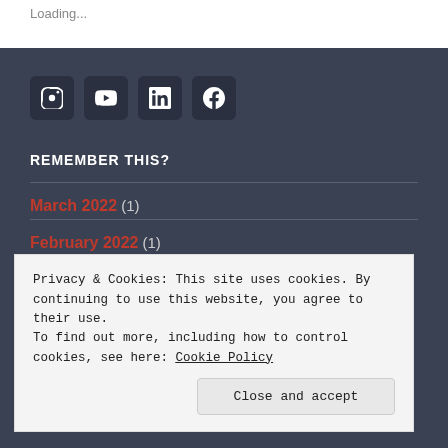Loading...
[Figure (other): Social media icons: Instagram, YouTube, LinkedIn, Facebook — dark rounded square buttons on dark background]
REMEMBER THIS?
March 2022 (1)
February 2022 (1)
Privacy & Cookies: This site uses cookies. By continuing to use this website, you agree to their use.
To find out more, including how to control cookies, see here: Cookie Policy
Close and accept